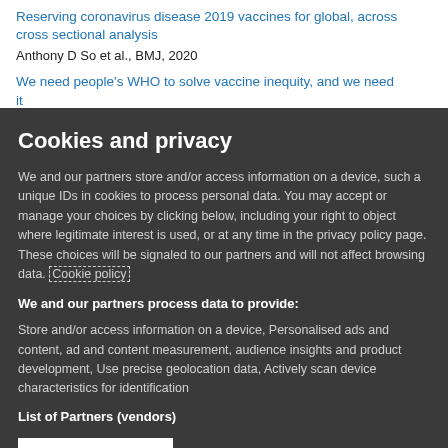Reserving coronavirus disease 2019 vaccines for global, across cross sectional analysis
Anthony D So et al., BMJ, 2020
We need people's WHO to solve vaccine inequity, and we need it
Cookies and privacy
We and our partners store and/or access information on a device, such a unique IDs in cookies to process personal data. You may accept or manage your choices by clicking below, including your right to object where legitimate interest is used, or at any time in the privacy policy page. These choices will be signaled to our partners and will not affect browsing data. Cookie policy
We and our partners process data to provide:
Store and/or access information on a device, Personalised ads and content, ad and content measurement, audience insights and product development, Use precise geolocation data, Actively scan device characteristics for identification
List of Partners (vendors)
I Accept